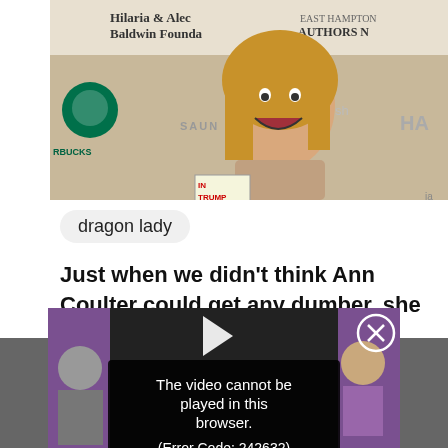[Figure (photo): A woman with blonde hair posing in front of event backdrop with Hilaria & Alec Baldwin Foundation, Starbucks, Saun, Authors Night, and HA logos visible. She holds a book with 'IN TRUMP' visible.]
dragon lady
Just when we didn't think Ann Coulter could get any dumber, she did this...
[Figure (screenshot): Video player screenshot with error message: 'The video cannot be played in this browser. (Error Code: 242632)' on dark background with close X button and play icon arrow.]